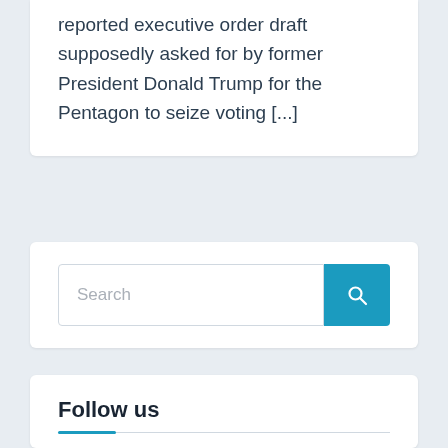reported executive order draft supposedly asked for by former President Donald Trump for the Pentagon to seize voting [...]
[Figure (screenshot): Search bar with text input field and blue search button with magnifying glass icon]
Follow us